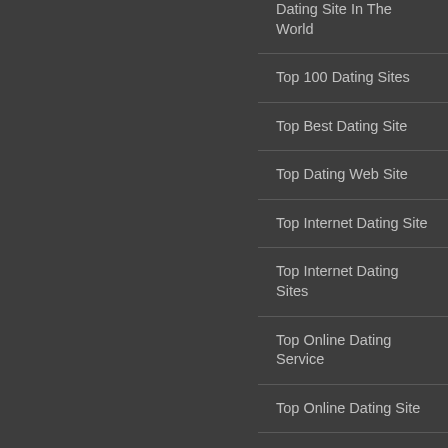Dating Site In The World
Top 100 Dating Sites
Top Best Dating Site
Top Dating Web Site
Top Internet Dating Site
Top Internet Dating Sites
Top Online Dating Service
Top Online Dating Site